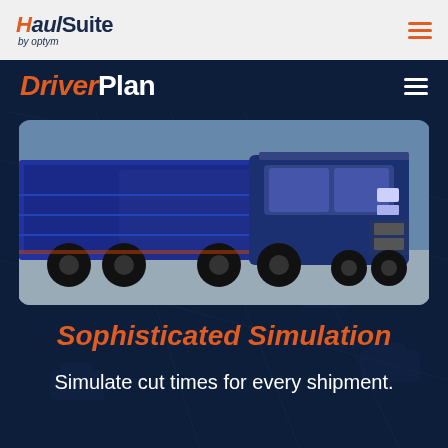[Figure (logo): HaulSuite by optym logo - top navigation bar with light gray background]
[Figure (logo): DriverPlan logo in dark navy navigation bar]
[Figure (photo): Photo of large blue semi-trucks parked in a row, showing the side and front of the trucks]
Sophisticated Simulation
Simulate cut times for every shipment.